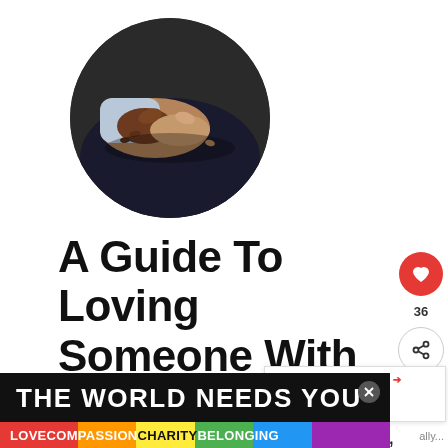[Figure (photo): Circular cropped photo of two hands clasped together, one with a light blue sleeve, photographed from above on a dark background.]
A Guide To Loving Someone With Avoidant Attachment Style
Attachment styles dictate how you approach and connect with others,
[Figure (infographic): What's Next panel showing a small circular avatar of a red-haired woman and text reading 'WHAT'S NEXT → The 119 Punniest Ey...']
[Figure (infographic): Bottom banner advertisement with black background reading 'THE WORLD NEEDS YOU' in large white bold text, with a rainbow strip at the bottom showing 'LOVE COMPASSION CHARITY BELONGING' in colored text. An X close button is visible.]